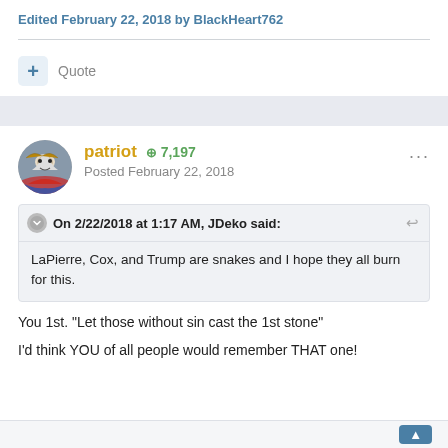Edited February 22, 2018 by BlackHeart762
Quote
patriot  +7,197
Posted February 22, 2018
On 2/22/2018 at 1:17 AM, JDeko said:
LaPierre, Cox, and Trump are snakes and I hope they all burn for this.
You 1st. "Let those without sin cast the 1st stone"
I'd think YOU of all people would remember THAT one!